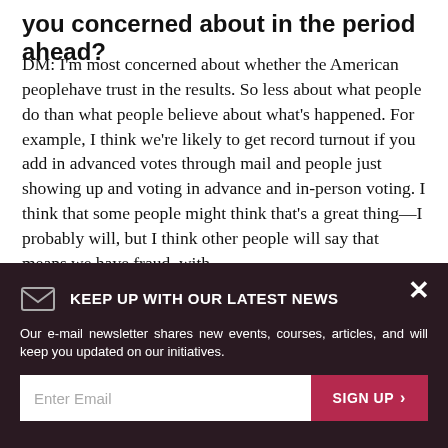you concerned about in the period ahead?
DM: I'm most concerned about whether the American peoplehave trust in the results. So less about what people do than what people believe about what's happened. For example, I think we're likely to get record turnout if you add in advanced votes through mail and people just showing up and voting in advance and in-person voting. I think that some people might think that's a great thing—I probably will, but I think other people will say that means we have fraud, with
KEEP UP WITH OUR LATEST NEWS
Our e-mail newsletter shares new events, courses, articles, and will keep you updated on our initiatives.